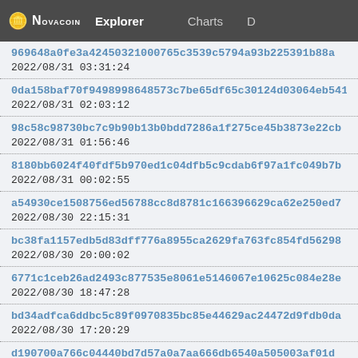NOVACOIN  Explorer  Charts
969648a0fe3a42450321000765c3539c5794a93b225391b88a...
2022/08/31 03:31:24
0da158baf70f9498998648573c7be65df65c30124d03064eb541...
2022/08/31 02:03:12
98c58c98730bc7c9b90b13b0bdd7286a1f275ce45b3873e22cb...
2022/08/31 01:56:46
8180bb6024f40fdf5b970ed1c04dfb5c9cdab6f97a1fc049b7b...
2022/08/31 00:02:55
a54930ce1508756ed56788cc8d8781c166396629ca62e250ed7...
2022/08/30 22:15:31
bc38fa1157edb5d83dff776a8955ca2629fa763fc854fd56298...
2022/08/30 20:00:02
6771c1ceb26ad2493c877535e8061e5146067e10625c084e28e...
2022/08/30 18:47:28
bd34adfca6ddbc5c89f0970835bc85e44629ac24472d9fdb0da...
2022/08/30 17:20:29
d190700a766c04440bd7d57a0a7aa666db6540a505003af01d...
(partial)